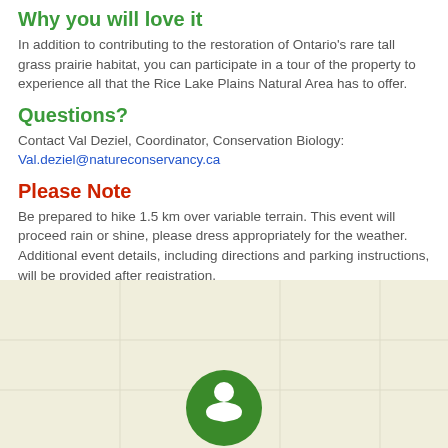Why you will love it
In addition to contributing to the restoration of Ontario's rare tall grass prairie habitat, you can participate in a tour of the property to experience all that the Rice Lake Plains Natural Area has to offer.
Questions?
Contact Val Deziel, Coordinator, Conservation Biology:
Val.deziel@natureconservancy.ca
Please Note
Be prepared to hike 1.5 km over variable terrain. This event will proceed rain or shine, please dress appropriately for the weather. Additional event details, including directions and parking instructions, will be provided after registration.
[Figure (map): Map with a green location pin icon on a beige/tan background representing a geographic map area]